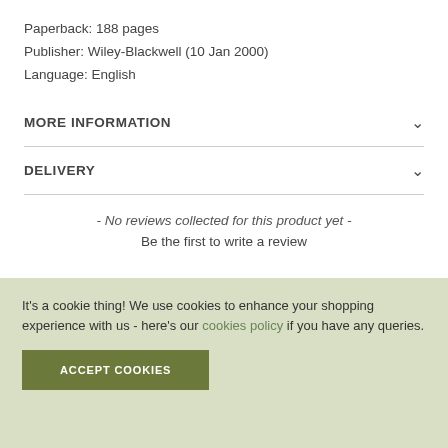Paperback: 188 pages
Publisher: Wiley-Blackwell (10 Jan 2000)
Language: English
MORE INFORMATION
DELIVERY
- No reviews collected for this product yet -
Be the first to write a review
It's a cookie thing! We use cookies to enhance your shopping experience with us - here's our cookies policy if you have any queries.
ACCEPT COOKIES